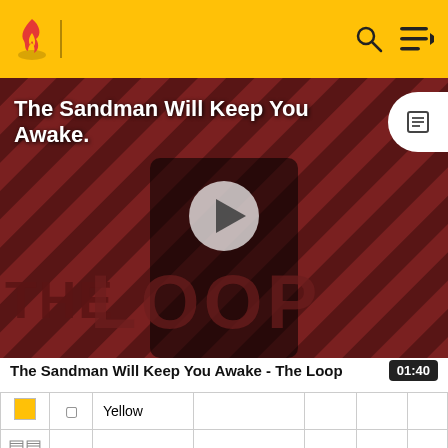The Sandman Will Keep You Awake - The Loop (header navigation bar)
[Figure (screenshot): Video thumbnail showing a dark-costumed figure with a raven, diagonal striped red/black background, 'THE LOOP' text overlay, play button in center. Title: 'The Sandman Will Keep You Awake.']
The Sandman Will Keep You Awake - The Loop  01:40
|  |  | Name | Hex | R | G | B |
| --- | --- | --- | --- | --- | --- | --- |
|  |  | Yellow |  |  |  |  |
|  |  | Mustard | #CCCC4D | 204 | 204 | 77 |